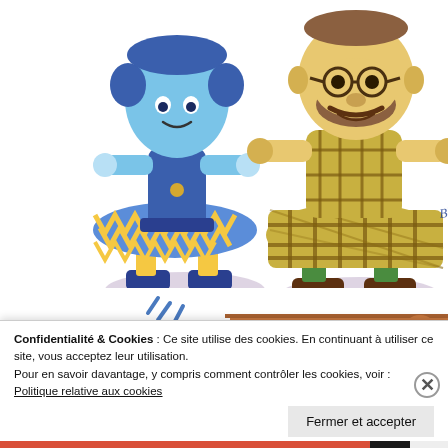[Figure (illustration): Two cartoon characters in colorful outfits. Left character wears a blue outfit with yellow zigzag patterned skirt and blue shoes. Right character is a larger figure wearing glasses and a yellow-brown plaid outfit with green socks and brown shoes. Both have artist signatures 'Blenaut' visible.]
[Figure (illustration): Partial view of a cartoon brown rectangular object with motion lines, partially obscured by cookie consent banner.]
Confidentialité & Cookies : Ce site utilise des cookies. En continuant à utiliser ce site, vous acceptez leur utilisation. Pour en savoir davantage, y compris comment contrôler les cookies, voir : Politique relative aux cookies